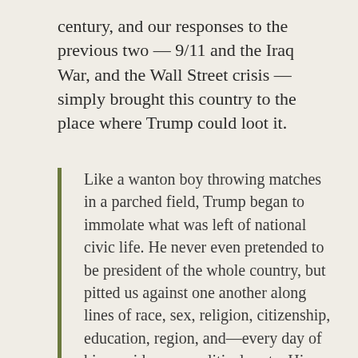century, and our responses to the previous two — 9/11 and the Iraq War, and the Wall Street crisis — simply brought this country to the place where Trump could loot it.
Like a wanton boy throwing matches in a parched field, Trump began to immolate what was left of national civic life. He never even pretended to be president of the whole country, but pitted us against one another along lines of race, sex, religion, citizenship, education, region, and—every day of his presidency—political party. His main tool of governance was to lie. A third of the country locked itself in a hall of mirrors that it